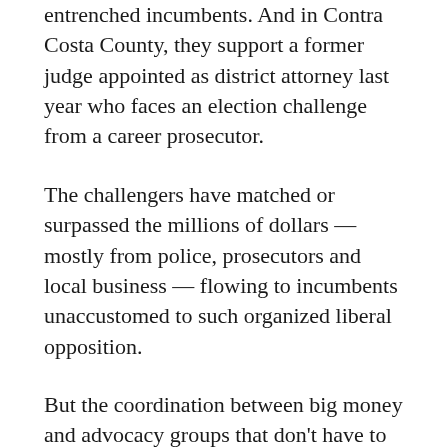entrenched incumbents. And in Contra Costa County, they support a former judge appointed as district attorney last year who faces an election challenge from a career prosecutor.
The challengers have matched or surpassed the millions of dollars — mostly from police, prosecutors and local business — flowing to incumbents unaccustomed to such organized liberal opposition.
But the coordination between big money and advocacy groups that don't have to reveal their funding sources is largely out of public view.
The campaign has alarmed some law-and-order prosecutors, who warn that discretion over which laws to enforce and how has its limits.